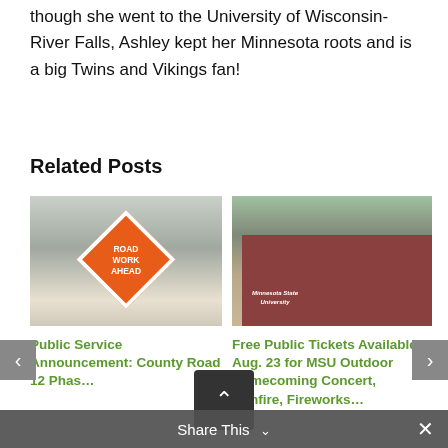though she went to the University of Wisconsin-River Falls, Ashley kept her Minnesota roots and is a big Twins and Vikings fan!
Related Posts
[Figure (photo): Orange diamond-shaped road work ahead sign on a snowy roadside]
[Figure (photo): Minnesota State University brick entrance sign]
Public Service Announcement: County Road 12 Phas...
Free Public Tickets Available Aug. 23 for MSU Outdoor Homecoming Concert, Bonfire, Fireworks...
Share This